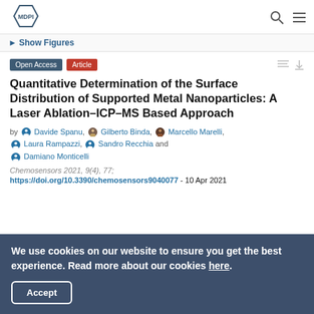MDPI
► Show Figures
Open Access  Article
Quantitative Determination of the Surface Distribution of Supported Metal Nanoparticles: A Laser Ablation–ICP–MS Based Approach
by Davide Spanu, Gilberto Binda, Marcello Marelli, Laura Rampazzi, Sandro Recchia and Damiano Monticelli
Chemosensors 2021, 9(4), 77; https://doi.org/10.3390/chemosensors9040077 - 10 Apr 2021
We use cookies on our website to ensure you get the best experience. Read more about our cookies here. Accept